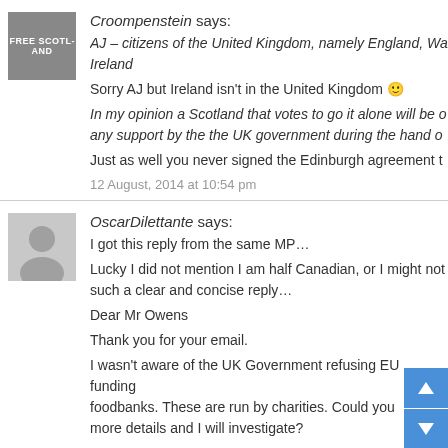Croompenstein says:
AJ – citizens of the United Kingdom, namely England, Wa Ireland
Sorry AJ but Ireland isn't in the United Kingdom 🙂
In my opinion a Scotland that votes to go it alone will be o any support by the the UK government during the hand o
Just as well you never signed the Edinburgh agreement t
12 August, 2014 at 10:54 pm
OscarDilettante says:
I got this reply from the same MP…
Lucky I did not mention I am half Canadian, or I might not such a clear and concise reply…
Dear Mr Owens
Thank you for your email.
I wasn't aware of the UK Government refusing EU funding foodbanks. These are run by charities. Could you more details and I will investigate?